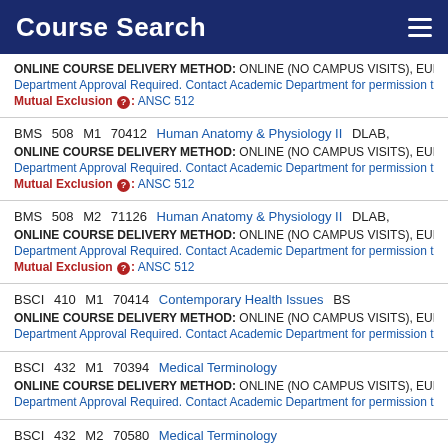Course Search
ONLINE COURSE DELIVERY METHOD: ONLINE (NO CAMPUS VISITS), EUNH
Department Approval Required. Contact Academic Department for permission then r
Mutual Exclusion: ANSC 512
BMS 508 M1 70412 Human Anatomy & Physiology II DLAB,
ONLINE COURSE DELIVERY METHOD: ONLINE (NO CAMPUS VISITS), EUNH
Department Approval Required. Contact Academic Department for permission then r
Mutual Exclusion: ANSC 512
BMS 508 M2 71126 Human Anatomy & Physiology II DLAB,
ONLINE COURSE DELIVERY METHOD: ONLINE (NO CAMPUS VISITS), EUNH
Department Approval Required. Contact Academic Department for permission then r
Mutual Exclusion: ANSC 512
BSCI 410 M1 70414 Contemporary Health Issues BS
ONLINE COURSE DELIVERY METHOD: ONLINE (NO CAMPUS VISITS), EUNH
Department Approval Required. Contact Academic Department for permission then r
BSCI 432 M1 70394 Medical Terminology
ONLINE COURSE DELIVERY METHOD: ONLINE (NO CAMPUS VISITS), EUNH
Department Approval Required. Contact Academic Department for permission then r
BSCI 432 M2 70580 Medical Terminology